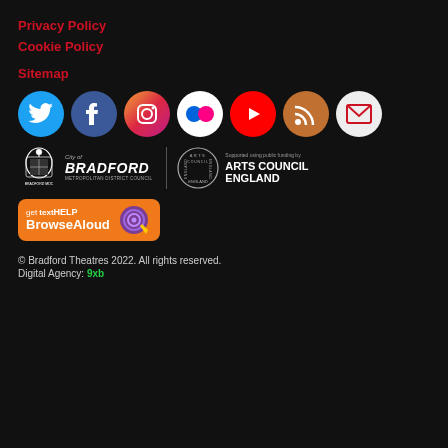Privacy Policy
Cookie Policy
Sitemap
[Figure (infographic): Row of 7 social media icons: Twitter (blue circle), Facebook (dark blue circle), Instagram (gradient circle), Flickr (white circle with colored dots), YouTube (red circle), RSS (orange-brown circle), Email (light circle)]
[Figure (logo): City of Bradford Metropolitan District Council logo with coat of arms and text]
[Figure (logo): Arts Council England logo - circular text ring with Arts Council England text, Supported using public funding by Arts Council England]
[Figure (logo): get textHELP BrowseAloud logo on orange background]
© Bradford Theatres 2022. All rights reserved.
Digital Agency: 9xb